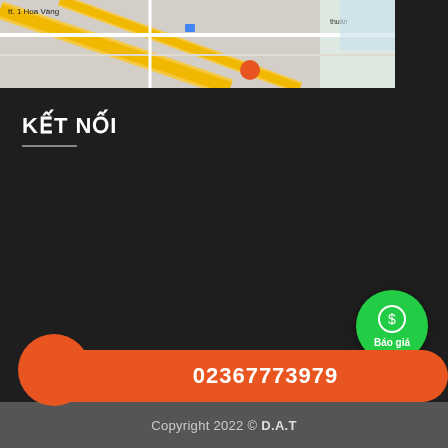[Figure (map): Google Maps partial screenshot showing street map with orange location pin and roads including Hoa Vang street]
KẾT NỐI
[Figure (other): Green circular button with dollar/money icon and text 'Báo giá' (Quote)]
[Figure (other): Blue circular Facebook Messenger icon button]
02367773979
Copyright 2022 © D.A.T